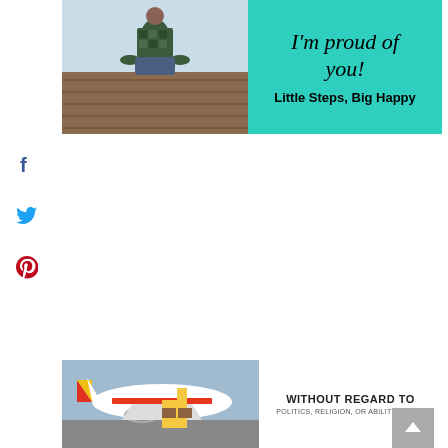[Figure (photo): Banner advertisement split into two halves: left side shows a photo of a person sitting on a wooden deck, right side is a teal/turquoise background with italic text 'I'm proud of you!' and bold text 'Little Steps, Big Happy']
[Figure (infographic): Social media sharing icons: Facebook (blue 'f'), Twitter (blue bird), Pinterest (red 'P')]
[Figure (photo): Bottom advertisement banner: left side shows a photo of cargo airplane being loaded, right side shows text 'WITHOUT REGARD TO' with smaller text 'POLITICS, RELIGION, OR ABILITY TO PAY']